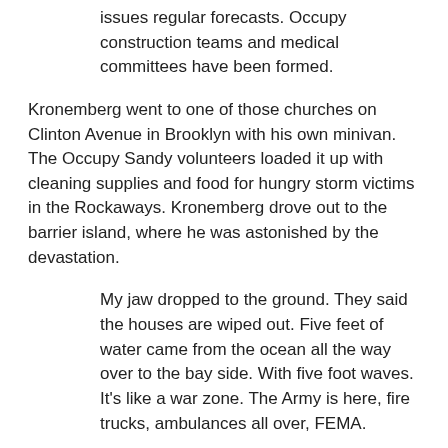issues regular forecasts. Occupy construction teams and medical committees have been formed.
Kronemberg went to one of those churches on Clinton Avenue in Brooklyn with his own minivan. The Occupy Sandy volunteers loaded it up with cleaning supplies and food for hungry storm victims in the Rockaways. Kronemberg drove out to the barrier island, where he was astonished by the devastation.
My jaw dropped to the ground. They said the houses are wiped out. Five feet of water came from the ocean all the way over to the bay side. With five foot waves. It's like a war zone. The Army is here, fire trucks, ambulances all over, FEMA.
Kronemberg was amazed by the number of volunteers and the donations. "It's good. It brings everyone together."
He'll be volunteering again this weekend. And he'll be making a donation to the Teamster Disaster Relief Fund